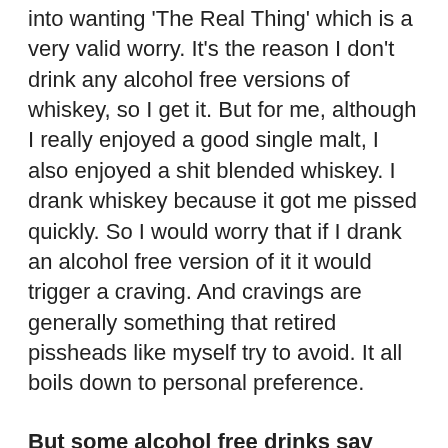into wanting 'The Real Thing' which is a very valid worry. It's the reason I don't drink any alcohol free versions of whiskey, so I get it. But for me, although I really enjoyed a good single malt, I also enjoyed a shit blended whiskey. I drank whiskey because it got me pissed quickly. So I would worry that if I drank an alcohol free version of it it would trigger a craving. And cravings are generally something that retired pissheads like myself try to avoid. It all boils down to personal preference.
But some alcohol free drinks say they contain 0.5% alcohol! Surely that means you aren't sober if you drink those?!